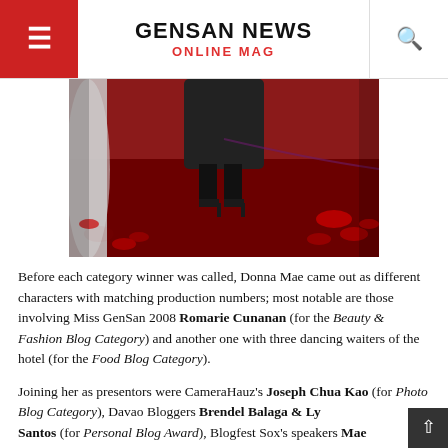GENSAN NEWS ONLINE MAG
[Figure (photo): Photo of high-heeled shoes on a red carpet with rose petals scattered around, partially showing white fabric on the left side.]
Before each category winner was called, Donna Mae came out as different characters with matching production numbers; most notable are those involving Miss GenSan 2008 Romarie Cunanan (for the Beauty & Fashion Blog Category) and another one with three dancing waiters of the hotel (for the Food Blog Category).
Joining her as presentors were CameraHauz's Joseph Chua Kao (for Photo Blog Category), Davao Bloggers Brendel Balaga & Ly Santos (for Personal Blog Award), Blogfest Sox's speakers Mae